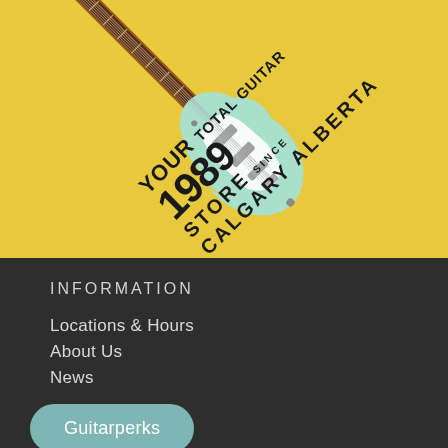[Figure (illustration): Yellow background with a mint/seafoam green Stratocaster-style electric guitar rendered diagonally, overlaid with bold rotated text reading 'YOUR TOTAL GUITAR STORE SINCE 1989 CALGARY ALBERTA']
INFORMATION
Locations & Hours
About Us
News
Guitarperks
FAQs